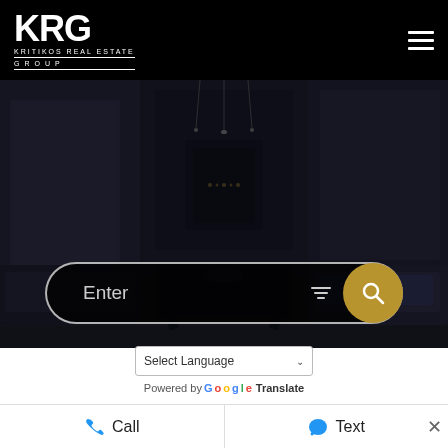[Figure (screenshot): KRG Kritikos Real Estate Group website header with logo on black background and hamburger menu icon]
[Figure (photo): Dark interior room photo used as hero background image showing a modern living room with dark decor]
[Figure (screenshot): Search bar with 'Enter' placeholder text, filter icon, and gold search button]
Select Language
Powered by Google Translate
RSS
Call
Text
×